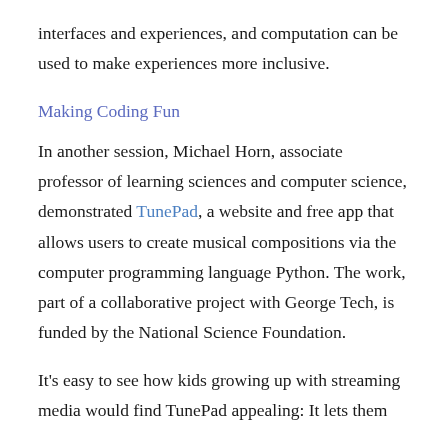interfaces and experiences, and computation can be used to make experiences more inclusive.
Making Coding Fun
In another session, Michael Horn, associate professor of learning sciences and computer science, demonstrated TunePad, a website and free app that allows users to create musical compositions via the computer programming language Python. The work, part of a collaborative project with George Tech, is funded by the National Science Foundation.
It's easy to see how kids growing up with streaming media would find TunePad appealing: It lets them